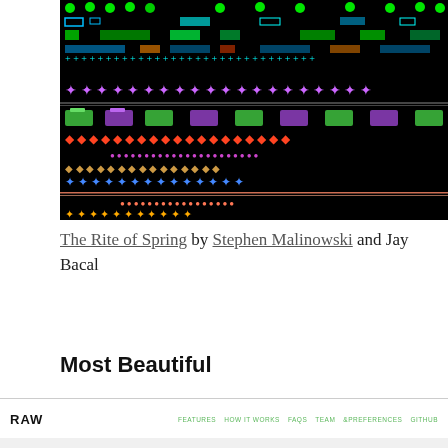[Figure (illustration): Colorful glitch art / music visualization with neon shapes (circles, squares, diamonds, stars) on black background in rows, creating a data visualization of The Rite of Spring musical piece]
The Rite of Spring by Stephen Malinowski and Jay Bacal
Most Beautiful
RAW   FEATURES   HOW IT WORKS   FAQS   TEAM   &PREFERENCES   GITHUB